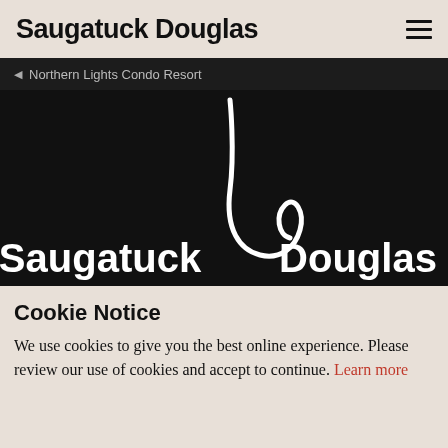Saugatuck Douglas
Northern Lights Condo Resort
[Figure (logo): Dark hero banner with a white swooping line graphic and the text 'Saugatuck' and 'Douglas' in large bold white letters on a black background.]
Cookie Notice
We use cookies to give you the best online experience. Please review our use of cookies and accept to continue. Learn more